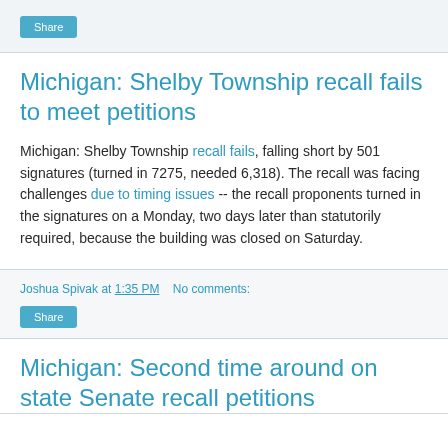[Figure (other): Share button at top of page]
Michigan: Shelby Township recall fails to meet petitions
Michigan: Shelby Township recall fails, falling short by 501 signatures (turned in 7275, needed 6,318). The recall was facing challenges due to timing issues -- the recall proponents turned in the signatures on a Monday, two days later than statutorily required, because the building was closed on Saturday.
Joshua Spivak at 1:35 PM   No comments:
[Figure (other): Share button at bottom of article]
Michigan: Second time around on state Senate recall petitions